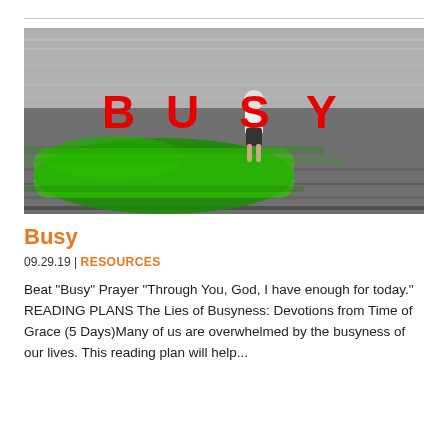[Figure (photo): A blurred motion photo of a green car racing past, with a person standing still in the middle. Bold red letters spell out 'B U S Y' across the image center.]
Busy
09.29.19 | RESOURCES
Beat "Busy" Prayer "Through You, God, I have enough for today." READING PLANS The Lies of Busyness: Devotions from Time of Grace (5 Days)Many of us are overwhelmed by the busyness of our lives. This reading plan will help...